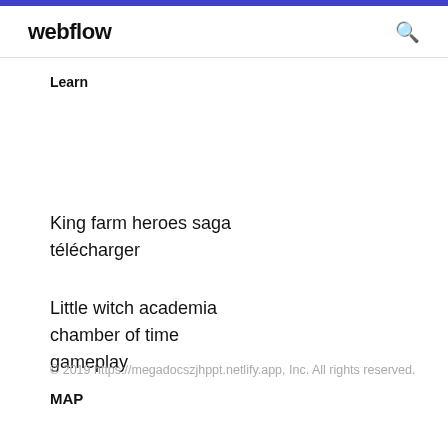webflow
Learn
King farm heroes saga télécharger
Little witch academia chamber of time gameplay
© 2019 https://megadocszjhppt.netlify.app, Inc. All rights reserved.
MAP